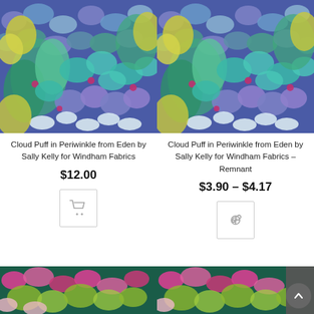[Figure (photo): Cloud Puff in Periwinkle fabric pattern — blue, teal, purple, and yellow fan/cloud motif textile swatch]
Cloud Puff in Periwinkle from Eden by Sally Kelly for Windham Fabrics
$12.00
[Figure (illustration): Shopping cart icon button in a bordered square]
[Figure (photo): Cloud Puff in Periwinkle fabric pattern — same textile swatch as left]
Cloud Puff in Periwinkle from Eden by Sally Kelly for Windham Fabrics – Remnant
$3.90 – $4.17
[Figure (illustration): Link/chain icon button in a bordered square]
[Figure (photo): Bottom-left partial product image — pink, green, yellow cloud puff fabric pattern on dark background]
[Figure (photo): Bottom-right partial product image — same style cloud puff fabric on dark background]
[Figure (illustration): Scroll-to-top circular button with up arrow, dark grey]